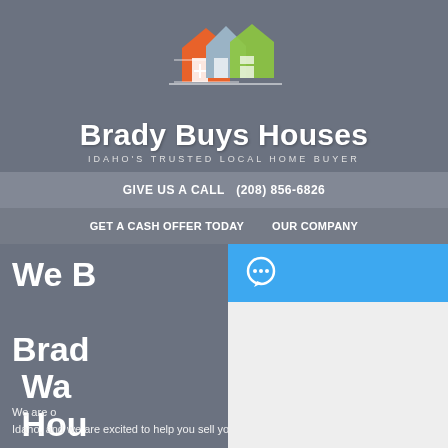[Figure (logo): Brady Buys Houses logo with colorful house icons (orange, blue/gray, green)]
Brady Buys Houses
IDAHO'S TRUSTED LOCAL HOME BUYER
GIVE US A CALL   (208) 856-6826
GET A CASH OFFER TODAY     OUR COMPANY
We Buy Houses In Brady, Star, Warden & Surrounding Houses
We are one of the leading home buyers in Idaho, and we are excited to help you sell your Star
[Figure (screenshot): Chat widget overlay with blue header containing speech bubble icon, gray message area, and blue send button with text input 'Send a message...']